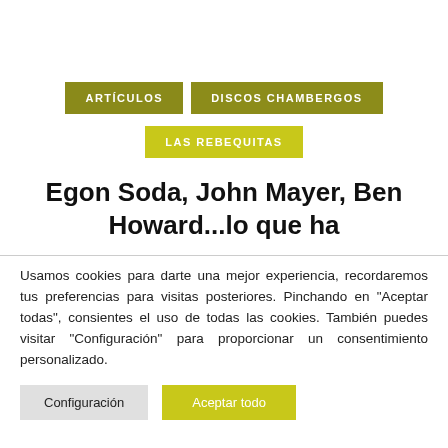ARTÍCULOS
DISCOS CHAMBERGOS
LAS REBEQUITAS
Egon Soda, John Mayer, Ben Howard...lo que ha
Usamos cookies para darte una mejor experiencia, recordaremos tus preferencias para visitas posteriores. Pinchando en "Aceptar todas", consientes el uso de todas las cookies. También puedes visitar "Configuración" para proporcionar un consentimiento personalizado.
Configuración
Aceptar todo